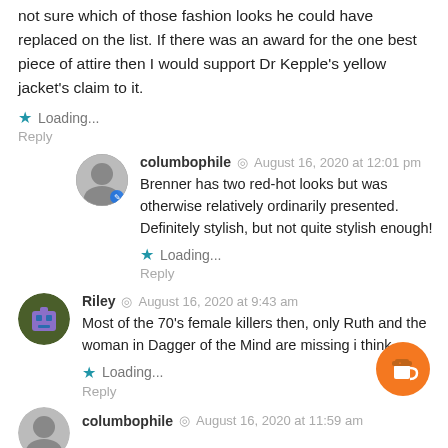not sure which of those fashion looks he could have replaced on the list. If there was an award for the one best piece of attire then I would support Dr Kepple’s yellow jacket’s claim to it.
Loading...
Reply
columbophile  August 16, 2020 at 12:01 pm
Brenner has two red-hot looks but was otherwise relatively ordinarily presented. Definitely stylish, but not quite stylish enough!
Loading...
Reply
Riley  August 16, 2020 at 9:43 am
Most of the 70’s female killers then, only Ruth and the woman in Dagger of the Mind are missing i think
Loading...
Reply
columbophile  August 16, 2020 at 11:59 am